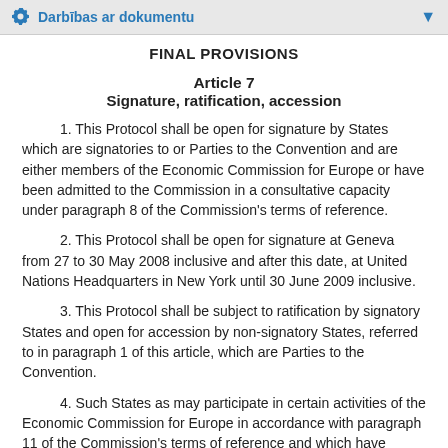Darbības ar dokumentu
FINAL PROVISIONS
Article 7
Signature, ratification, accession
1. This Protocol shall be open for signature by States which are signatories to or Parties to the Convention and are either members of the Economic Commission for Europe or have been admitted to the Commission in a consultative capacity under paragraph 8 of the Commission's terms of reference.
2. This Protocol shall be open for signature at Geneva from 27 to 30 May 2008 inclusive and after this date, at United Nations Headquarters in New York until 30 June 2009 inclusive.
3. This Protocol shall be subject to ratification by signatory States and open for accession by non-signatory States, referred to in paragraph 1 of this article, which are Parties to the Convention.
4. Such States as may participate in certain activities of the Economic Commission for Europe in accordance with paragraph 11 of the Commission's terms of reference and which have acceded to the Convention may become Parties to this Protocol by acceding thereto